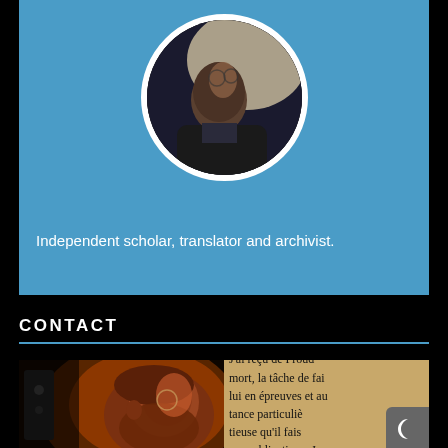[Figure (photo): Circular profile photo of a bearded man with glasses looking upward, set on a blue banner background]
Independent scholar, translator and archivist.
CONTACT
[Figure (photo): Photo of a bearded man with glasses in profile view, overlaid with an aged document in French beginning 'J’ai reçu de Proud mort, la tâche de fai lui en épreuves et au tance particuliè tieuse qu’il fais ses publications. J']